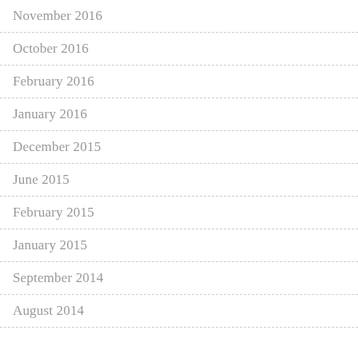November 2016
October 2016
February 2016
January 2016
December 2015
June 2015
February 2015
January 2015
September 2014
August 2014